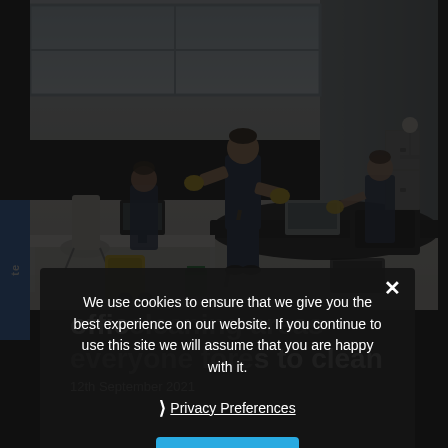[Figure (photo): Office cleaning crew — three workers in blue uniforms and yellow gloves cleaning an open-plan office space with desks, chairs, and computers.]
We use cookies to ensure that we give you the best experience on our website. If you continue to use this site we will assume that you are happy with it.
❯ Privacy Preferences
I Agree